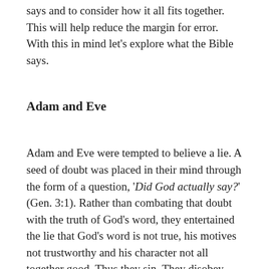says and to consider how it all fits together. This will help reduce the margin for error. With this in mind let's explore what the Bible says.
Adam and Eve
Adam and Eve were tempted to believe a lie. A seed of doubt was placed in their mind through the form of a question, 'Did God actually say?' (Gen. 3:1). Rather than combating that doubt with the truth of God's word, they entertained the lie that God's word is not true, his motives not trustworthy and his character not all together good. Thus they sin. They disobey God's good instruction to not eat the fruit of the tree. Jesus on the other hand, modelled in His temptation in wilderness (Matt. 4; Lk. 4) how